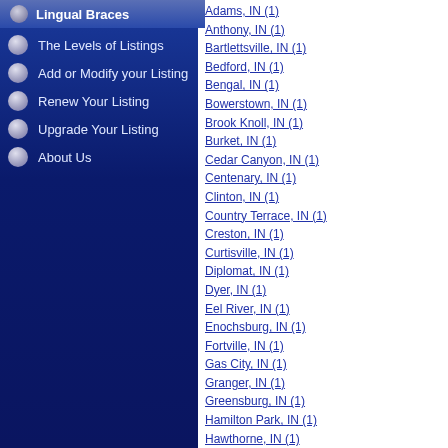Lingual Braces
Doctor Resources
The Levels of Listings
Add or Modify your Listing
Renew Your Listing
Upgrade Your Listing
About Us
Adams, IN (1)
Anthony, IN (1)
Bartlettsville, IN (1)
Bedford, IN (1)
Bengal, IN (1)
Bowerstown, IN (1)
Brook Knoll, IN (1)
Burket, IN (1)
Cedar Canyon, IN (1)
Centenary, IN (1)
Clinton, IN (1)
Country Terrace, IN (1)
Creston, IN (1)
Curtisville, IN (1)
Diplomat, IN (1)
Dyer, IN (1)
Eel River, IN (1)
Enochsburg, IN (1)
Fortville, IN (1)
Gas City, IN (1)
Granger, IN (1)
Greensburg, IN (1)
Hamilton Park, IN (1)
Hawthorne, IN (1)
Hobart, IN (1)
Huntersville, IN (1)
Island City, IN (1)
Jefferson Proving Ground, IN (1)
Kingston, IN (1)
Lake McCoy, IN (1)
Lawrenceburg, IN (1)
Leo, IN (1)